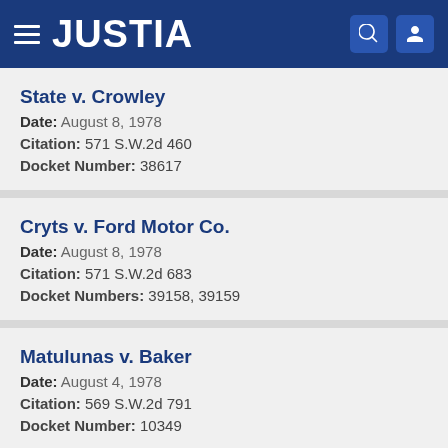JUSTIA
State v. Crowley
Date: August 8, 1978
Citation: 571 S.W.2d 460
Docket Number: 38617
Cryts v. Ford Motor Co.
Date: August 8, 1978
Citation: 571 S.W.2d 683
Docket Numbers: 39158, 39159
Matulunas v. Baker
Date: August 4, 1978
Citation: 569 S.W.2d 791
Docket Number: 10349